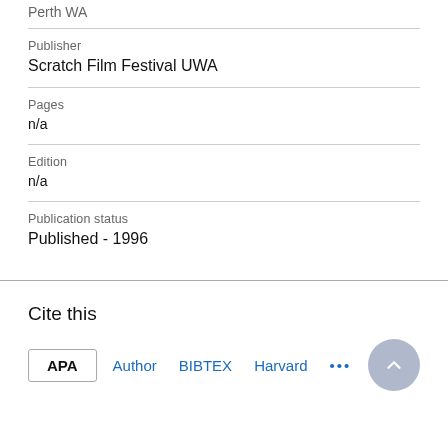Perth WA
Publisher
Scratch Film Festival UWA
Pages
n/a
Edition
n/a
Publication status
Published - 1996
Cite this
APA  Author  BIBTEX  Harvard  ...